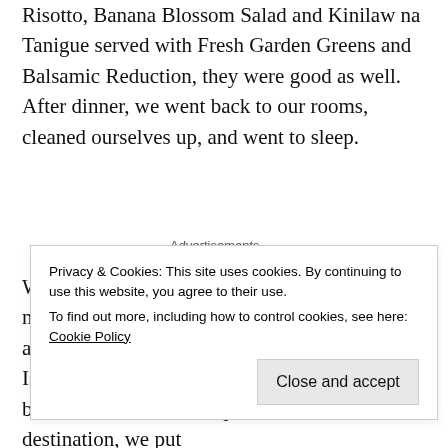Risotto, Banana Blossom Salad and Kinilaw na Tanigue served with Fresh Garden Greens and Balsamic Reduction, they were good as well. After dinner, we went back to our rooms, cleaned ourselves up, and went to sleep.
Advertisements
We had to wake up at 4 am in the morning the next day in order for us to catch the Dolphins and to go snorkeling. Since the trip to Balicasag Island took about 30-45 minutes, we had breakfast on the boat. Upon arrival at our destination, we put
Privacy & Cookies: This site uses cookies. By continuing to use this website, you agree to their use.
To find out more, including how to control cookies, see here: Cookie Policy
Close and accept